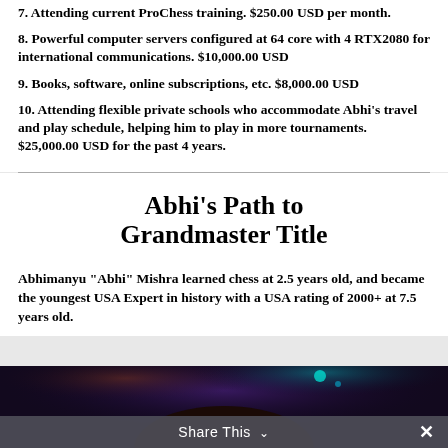7. Attending current ProChess training. $250.00 USD per month.
8. Powerful computer servers configured at 64 core with 4 RTX2080 for international communications. $10,000.00 USD
9. Books, software, online subscriptions, etc. $8,000.00 USD
10. Attending flexible private schools who accommodate Abhi’s travel and play schedule, helping him to play in more tournaments. $25,000.00 USD for the past 4 years.
Abhi’s Path to Grandmaster Title
Abhimanyu “Abhi” Mishra learned chess at 2.5 years old, and became the youngest USA Expert in history with a USA rating of 2000+ at 7.5 years old.
[Figure (photo): Dark photo showing top of a person's head (hair visible) against a dark background with purple and teal stage lighting. A share bar at the bottom reads 'Share This' with a chevron and an X close button.]